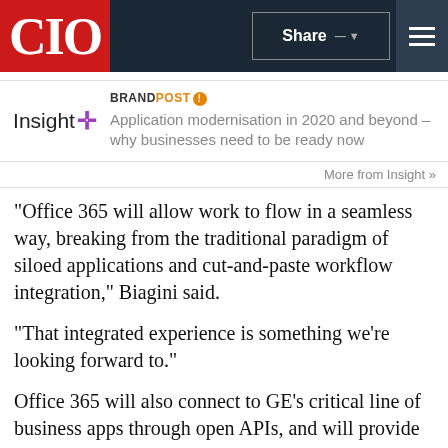CIO | Share | Menu
[Figure (logo): Insight logo with purple plus symbol]
BRANDPOST! Application modernisation in 2020 and beyond – why businesses need to be ready now
More from Insight »
"Office 365 will allow work to flow in a seamless way, breaking from the traditional paradigm of siloed applications and cut-and-paste workflow integration," Biagini said.
“That integrated experience is something we’re looking forward to.”
Office 365 will also connect to GE’s critical line of business apps through open APIs, and will provide controls and security capabilities that help the organisation adhere to corporate policies, industry regulations and legal